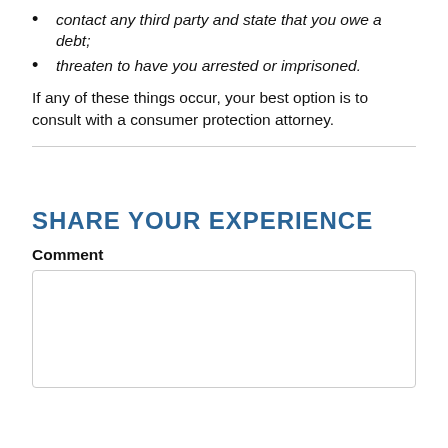contact any third party and state that you owe a debt;
threaten to have you arrested or imprisoned.
If any of these things occur, your best option is to consult with a consumer protection attorney.
SHARE YOUR EXPERIENCE
Comment